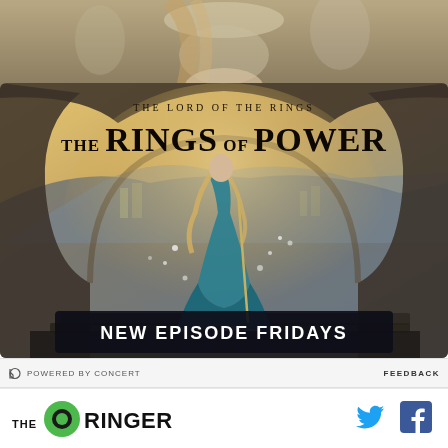[Figure (photo): Top portion of promotional image showing blonde woman in cream dress with others in background]
[Figure (photo): Advertisement for The Lord of the Rings: The Rings of Power on Amazon Prime Video. Features a woman in a teal gown standing in an archway overlooking a fantasy city. Text reads THE LORD OF THE RINGS / THE RINGS OF POWER / NEW EPISODE FRIDAYS]
POWERED BY CONCERT
FEEDBACK
[Figure (logo): The Ringer logo with green circle and THE RINGER wordmark]
[Figure (logo): Twitter bird icon in blue]
[Figure (logo): Facebook f icon in dark blue]